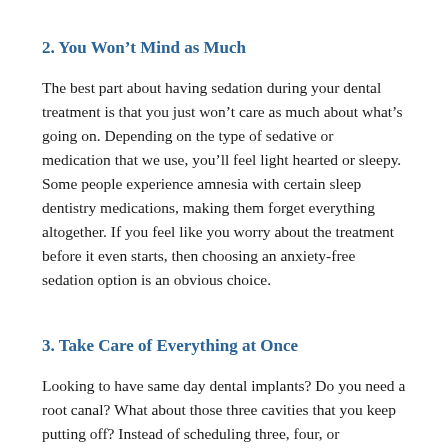2. You Won’t Mind as Much
The best part about having sedation during your dental treatment is that you just won’t care as much about what’s going on. Depending on the type of sedative or medication that we use, you’ll feel light hearted or sleepy. Some people experience amnesia with certain sleep dentistry medications, making them forget everything altogether. If you feel like you worry about the treatment before it even starts, then choosing an anxiety-free sedation option is an obvious choice.
3. Take Care of Everything at Once
Looking to have same day dental implants? Do you need a root canal? What about those three cavities that you keep putting off? Instead of scheduling three, four, or